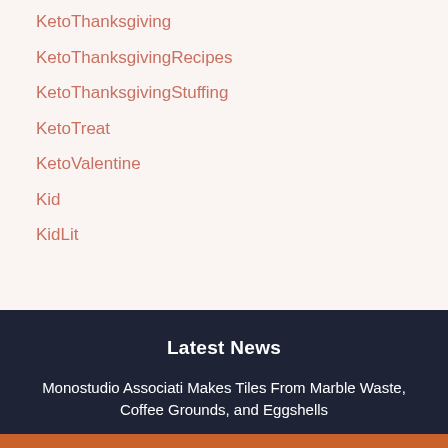KetoThanksgiving
KetoThanksgivingRecipes
KetoThanksgivingStuffing
KetoTreat
KetoValentine
Kid
KidLit
Latest News
Monostudio Associati Makes Tiles From Marble Waste, Coffee Grounds, and Eggshells